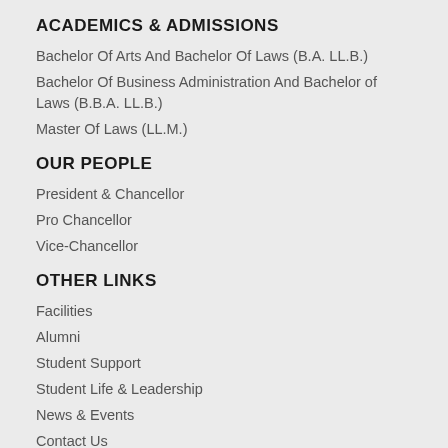ACADEMICS & ADMISSIONS
Bachelor Of Arts And Bachelor Of Laws (B.A. LL.B.)
Bachelor Of Business Administration And Bachelor of Laws (B.B.A. LL.B.)
Master Of Laws (LL.M.)
OUR PEOPLE
President & Chancellor
Pro Chancellor
Vice-Chancellor
OTHER LINKS
Facilities
Alumni
Student Support
Student Life & Leadership
News & Events
Contact Us
Sitemap